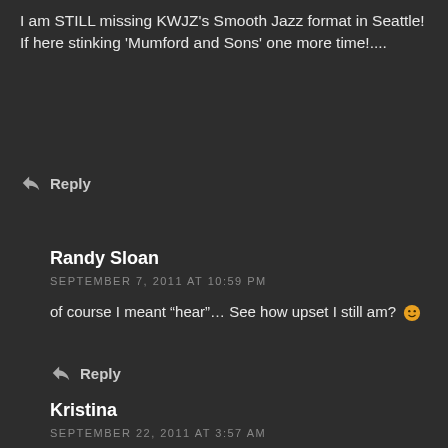I am STILL missing KWJZ's Smooth Jazz format in Seattle! If here stinking ‘Mumford and Sons’ one more time!....
Reply
Randy Sloan
SEPTEMBER 7, 2011 AT 10:59 PM
of course I meant “hear”… See how upset I still am? 🙂
Reply
Kristina
SEPTEMBER 22, 2011 AT 3:57 AM